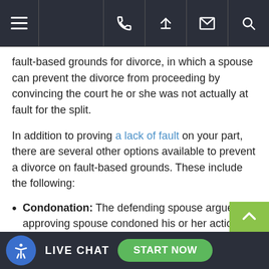Navigation bar with menu and icons
fault-based grounds for divorce, in which a spouse can prevent the divorce from proceeding by convincing the court he or she was not actually at fault for the split.
In addition to proving a lack of fault on your part, there are several other options available to prevent a divorce on fault-based grounds. These include the following:
Condonation: The defending spouse argues the approving spouse condoned his or her actions. For example, if a wife does not object to known adultery on the part of her husband, the husband could argue that constitutes condonation on the part of the wife.
Connivance: Connivance is similar to entrapment. It involves setting up a situation that encourages the other person to commit some sort of wrongdoing. If for
LIVE CHAT  START NOW